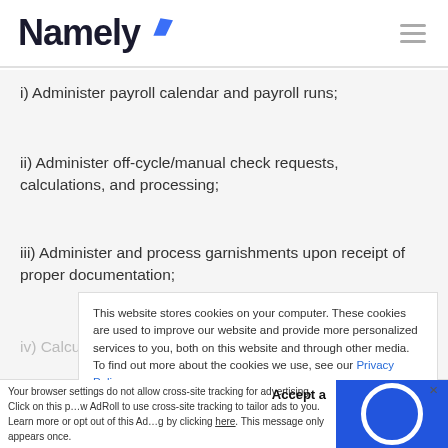Namely
i) Administer payroll calendar and payroll runs;
ii) Administer off-cycle/manual check requests, calculations, and processing;
iii) Administer and process garnishments upon receipt of proper documentation;
This website stores cookies on your computer. These cookies are used to improve our website and provide more personalized services to you, both on this website and through other media. To find out more about the cookies we use, see our Privacy Policy.
Accept a
Your browser settings do not allow cross-site tracking for advertising. Click on this p w AdRoll to use cross-site tracking to tailor ads to you. Learn more or opt out of this Ad g by clicking here. This message only appears once.